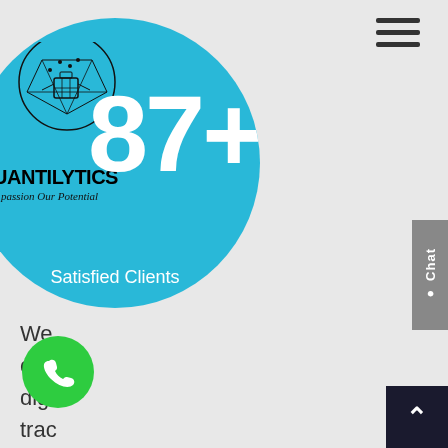[Figure (logo): Hamburger menu icon (three horizontal lines) in top right corner]
[Figure (infographic): A large cyan/blue circle containing the Quantilytics logo (line-art head with circuitry, company name QUANTILYTICS and tagline 'your passion Our Potential'), a large white '87+' number, and white text 'Satisfied Clients' at the bottom]
[Figure (other): Gray 'Chat' vertical button on right edge]
[Figure (other): Dark navy back-to-top arrow button in bottom right corner]
[Figure (other): Green circular phone/call button in bottom left area]
We exp digi trac we l imp